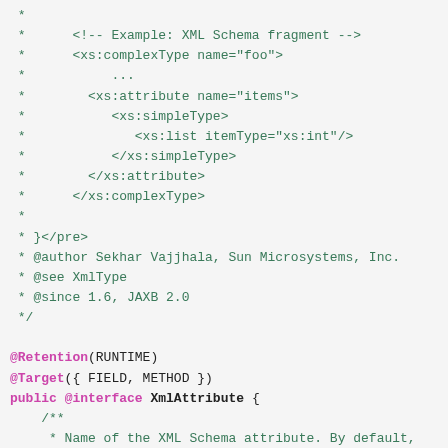Code fragment showing Java annotation source with XML schema comment block and @Retention, @Target, public @interface XmlAttribute declaration